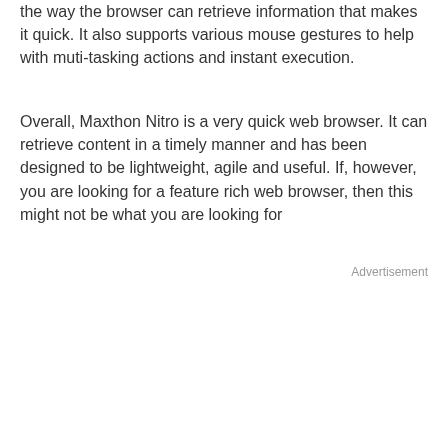the way the browser can retrieve information that makes it quick. It also supports various mouse gestures to help with muti-tasking actions and instant execution.
Overall, Maxthon Nitro is a very quick web browser. It can retrieve content in a timely manner and has been designed to be lightweight, agile and useful. If, however, you are looking for a feature rich web browser, then this might not be what you are looking for
Advertisement